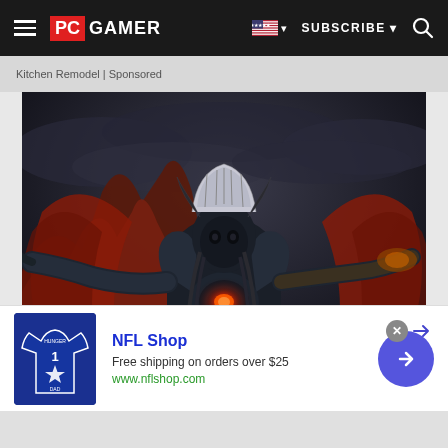PC GAMER — SUBSCRIBE — Search
Kitchen Remodel | Sponsored
[Figure (photo): Dark fantasy game screenshot showing a massive armored villain character with a glowing red core on his chest, wearing a skull-like crown headdress, with large red wings spread behind him. The background features dark cloudy skies.]
[Figure (screenshot): NFL Shop advertisement banner showing a Dallas Cowboys blue jersey with number 1, NFL Shop title in blue, text 'Free shipping on orders over $25', website www.nflshop.com, and a blue circular arrow button on the right.]